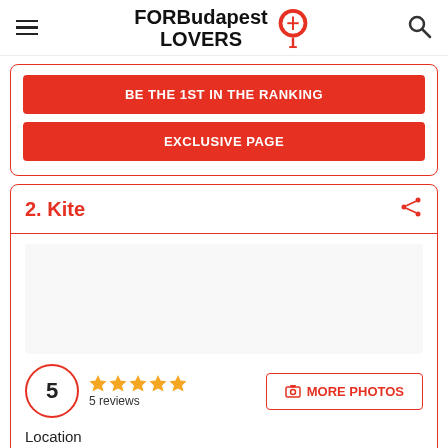FORBudapest LOVERS
BE THE 1ST IN THE RANKING
EXCLUSIVE PAGE
2. Kite
[Figure (photo): Photo placeholder for Kite listing]
5 reviews, rating 5 stars
MORE PHOTOS
Location